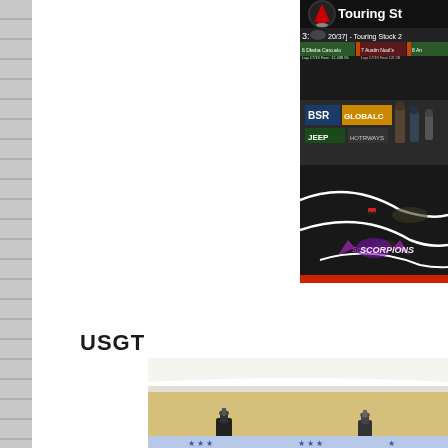[Figure (screenshot): RC car racing video game or live stream screenshot showing 'Touring St...' text, race overlay with lap counter '3:... 20/37] - Touring Stock 2', player names including positions 6, 7, 8, a dark indoor RC racing track with white lane markings, sponsor banners (BSR, GLOBALC, JEEP), and a Scorpions logo watermark in the lower center.]
USGT
[Figure (photo): Indoor room photo showing a ceiling corner with white crown molding against a yellow/cream wall, with two black spotlight/track light fixtures mounted on what appears to be a decorative banner or sign below.]